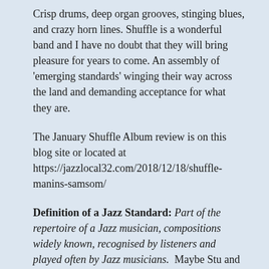Crisp drums, deep organ grooves, stinging blues, and crazy horn lines. Shuffle is a wonderful band and I have no doubt that they will bring pleasure for years to come. An assembly of 'emerging standards' winging their way across the land and demanding acceptance for what they are.
The January Shuffle Album review is on this blog site or located at https://jazzlocal32.com/2018/12/18/shuffle-manins-samsom/
Definition of a Jazz Standard: Part of the repertoire of a Jazz musician, compositions widely known, recognised by listeners and played often by Jazz musicians. Maybe Stu and I are not alone here. These tunes will be performed often and when others recognise them as we do – they will become standards.